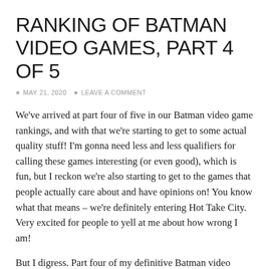RANKING OF BATMAN VIDEO GAMES, PART 4 OF 5
MAY 21, 2020   LEAVE A COMMENT
We've arrived at part four of five in our Batman video game rankings, and with that we're starting to get to some actual quality stuff! I'm gonna need less and less qualifiers for calling these games interesting (or even good), which is fun, but I reckon we're also starting to get to the games that people actually care about and have opinions on! You know what that means – we're definitely entering Hot Take City. Very excited for people to yell at me about how wrong I am!
But I digress. Part four of my definitive Batman video game rankings, which will take us from #23 to #13, begins here. Let's go!